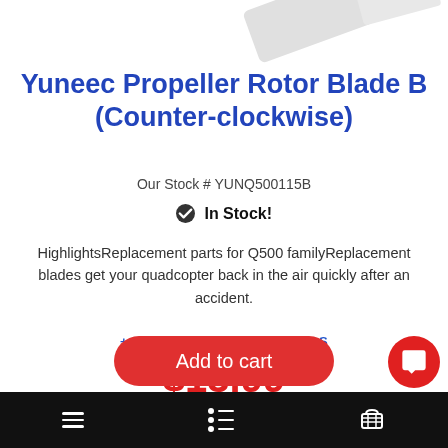[Figure (photo): Partial view of white drone propeller rotor blades at top of page]
Yuneec Propeller Rotor Blade B (Counter-clockwise)
Our Stock # YUNQ500115B
✔ In Stock!
HighlightsReplacement parts for Q500 familyReplacement blades get your quadcopter back in the air quickly after an accident.
+ SEE FULL PRODUCT DETAILS
$13.99
Add to cart
≡  [list icon]  [cart icon]